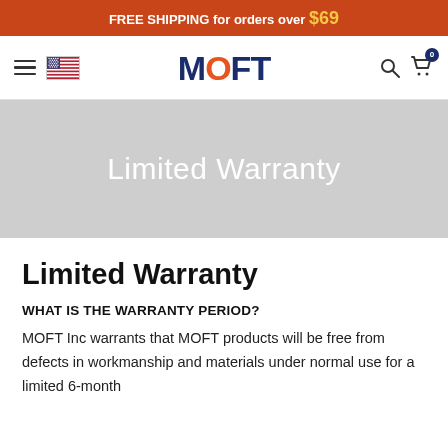FREE SHIPPING for orders over $69
[Figure (logo): MOFT logo with navigation bar including hamburger menu, US flag, search icon, and cart icon]
Limited Warranty
Limited Warranty
WHAT IS THE WARRANTY PERIOD?
MOFT Inc warrants that MOFT products will be free from defects in workmanship and materials under normal use for a limited 6-month